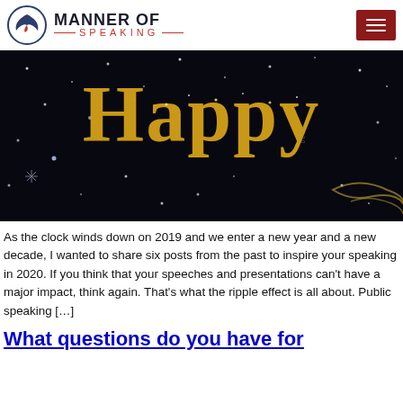MANNER OF SPEAKING
[Figure (photo): Dark background with golden glittery text reading 'Happy', snowflakes and decorative swirl elements on a black background.]
As the clock winds down on 2019 and we enter a new year and a new decade, I wanted to share six posts from the past to inspire your speaking in 2020. If you think that your speeches and presentations can’t have a major impact, think again. That’s what the ripple effect is all about. Public speaking […]
What questions do you have for